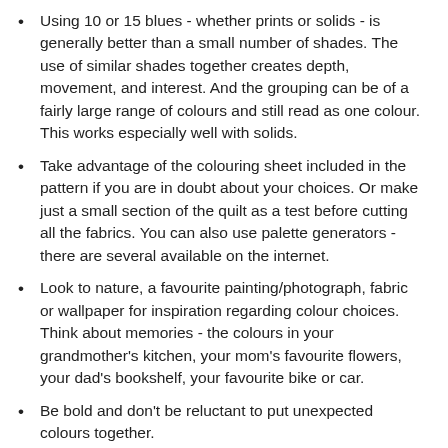Using 10 or 15 blues - whether prints or solids - is generally better than a small number of shades. The use of similar shades together creates depth, movement, and interest. And the grouping can be of a fairly large range of colours and still read as one colour. This works especially well with solids.
Take advantage of the colouring sheet included in the pattern if you are in doubt about your choices. Or make just a small section of the quilt as a test before cutting all the fabrics. You can also use palette generators - there are several available on the internet.
Look to nature, a favourite painting/photograph, fabric or wallpaper for inspiration regarding colour choices. Think about memories - the colours in your grandmother's kitchen, your mom's favourite flowers, your dad's bookshelf, your favourite bike or car.
Be bold and don't be reluctant to put unexpected colours together.